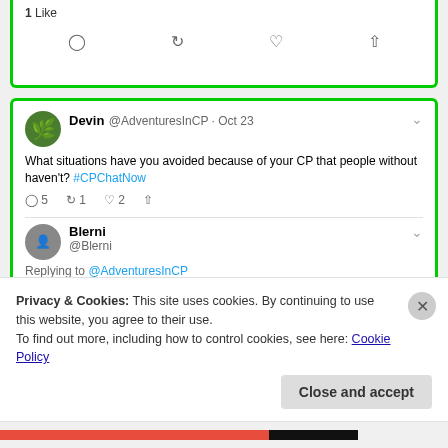[Figure (screenshot): Top portion of a tweet card showing 1 Like and action icons (comment, retweet, like, share), bordered in green]
[Figure (screenshot): Twitter thread screenshot: Devin @AdventuresInCP tweet asking 'What situations have you avoided because of your CP that people without haven't? #CPChatNow', with reply from Blerni @Blerni saying 'twitter isn't showing me all the tweets! but I found the question now. I avoid all situations where I don't know if their will be parking off of the street, and situations in people's homes I don't know if they have railings or not', bordered in green]
Privacy & Cookies: This site uses cookies. By continuing to use this website, you agree to their use.
To find out more, including how to control cookies, see here: Cookie Policy
Close and accept